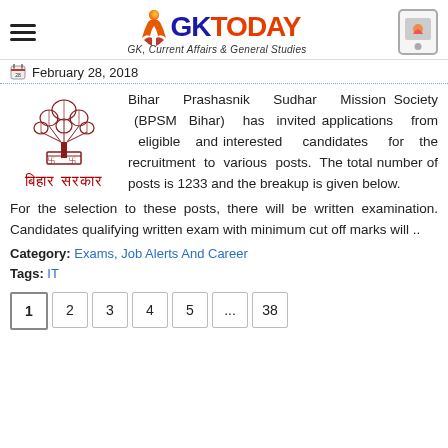GKToday — GK, Current Affairs & General Studies
February 28, 2018
[Figure (logo): Bihar Sarkar (Bihar Government) emblem with tree and text in Hindi]
Bihar Prashasnik Sudhar Mission Society (BPSM Bihar) has invited applications from eligible and interested candidates for the recruitment to various posts. The total number of posts is 1233 and the breakup is given below. For the selection to these posts, there will be written examination. Candidates qualifying written exam with minimum cut off marks will ..
Category: Exams, Job Alerts And Career
Tags: IT
1 2 3 4 5 ... 38